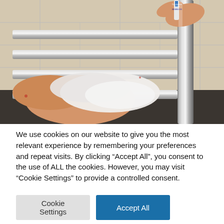[Figure (photo): Close-up photo of a person's hands using a product on a chrome heated towel rail/radiator in a bathroom. A small white label showing 'Carshalton Boilers 020 8395 8060' is visible at the top. The person is pressing or wiping the chrome rail with a cloth or tissue.]
We use cookies on our website to give you the most relevant experience by remembering your preferences and repeat visits. By clicking “Accept All”, you consent to the use of ALL the cookies. However, you may visit “Cookie Settings” to provide a controlled consent.
Cookie Settings
Accept All